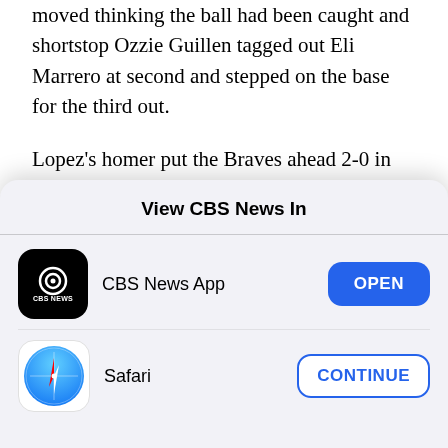moved thinking the ball had been caught and shortstop Ozzie Guillen tagged out Eli Marrero at second and stepped on the base for the third out.
Lopez's homer put the Braves ahead 2-0 in the fourth. The Cardinals took advantage of Glavine's wildness and a two-run single by Placido Polanco to take a 3-2 lead in the bottom of the fourth.
A fielding error by Polanco in the fifth helped the
[Figure (screenshot): Mobile app chooser modal sheet reading 'View CBS News In' with two options: CBS News App with an OPEN button, and Safari with a CONTINUE button.]